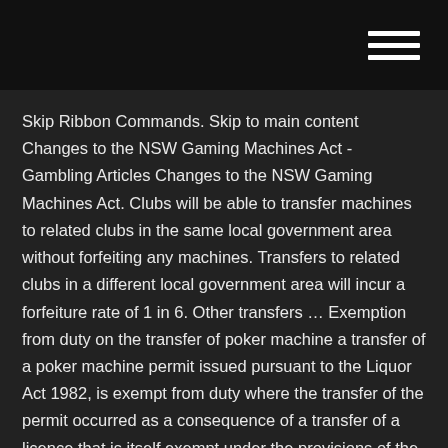Skip Ribbon Commands. Skip to main content Changes to the NSW Gaming Machines Act - Gambling Articles Changes to the NSW Gaming Machines Act. Clubs will be able to transfer machines to related clubs in the same local government area without forfeiting any machines. Transfers to related clubs in a different local government area will incur a forfeiture rate of 1 in 6. Other transfers … Exemption from duty on the transfer of poker machine a transfer of a poker machine permit issued pursuant to the Liquor Act 1982, is exempt from duty where the transfer of the permit occurred as a consequence of a transfer of a licence that is itself exempt under the provisions of the Duties Act; and Gaming Machines Regulation 2010 - NSW Legislation